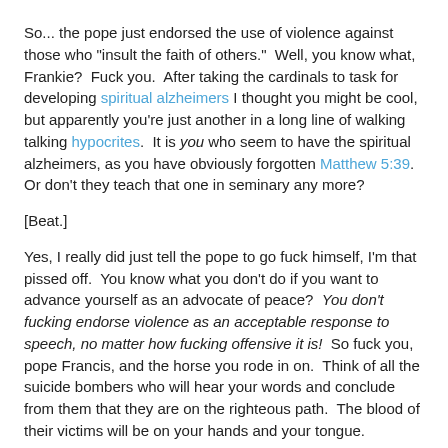So... the pope just endorsed the use of violence against those who "insult the faith of others."  Well, you know what, Frankie?  Fuck you.  After taking the cardinals to task for developing spiritual alzheimers I thought you might be cool, but apparently you're just another in a long line of walking talking hypocrites.  It is you who seem to have the spiritual alzheimers, as you have obviously forgotten Matthew 5:39.  Or don't they teach that one in seminary any more?
[Beat.]
Yes, I really did just tell the pope to go fuck himself, I'm that pissed off.  You know what you don't do if you want to advance yourself as an advocate of peace?  You don't fucking endorse violence as an acceptable response to speech, no matter how fucking offensive it is!  So fuck you, pope Francis, and the horse you rode in on.  Think of all the suicide bombers who will hear your words and conclude from them that they are on the righteous path.  The blood of their victims will be on your hands and your tongue.